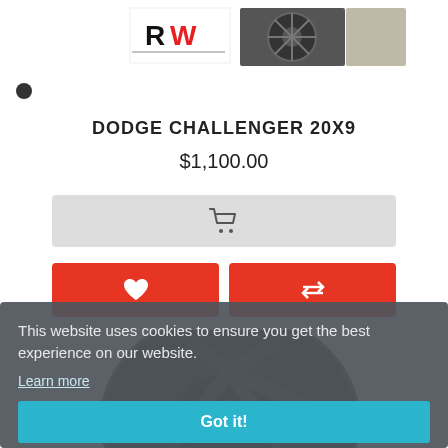[Figure (screenshot): RW logo and product images at top]
DODGE CHALLENGER 20X9
$1,100.00
[Figure (screenshot): Add to cart button with shopping cart icon]
[Figure (screenshot): Wishlist (heart) and compare (arrows) red buttons]
This website uses cookies to ensure you get the best experience on our website.
Learn more
Got it!
[Figure (photo): Dark alloy wheel (Dodge Challenger 20x9) shown in the background]